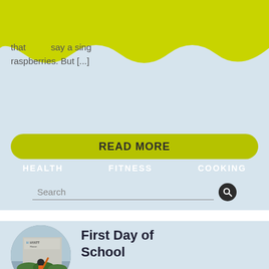that ... say a sing raspberries. But [...]
READ MORE
HEALTH   FITNESS   COOKING
Search
First Day of School
Written on August 27, 2015 by Alisa.
Let's Pretend Everything is Normal Oh, hello there, Internet. Nice to see you again. You still stop by in spite of the fact that I haven't been writing? I am truly impressed